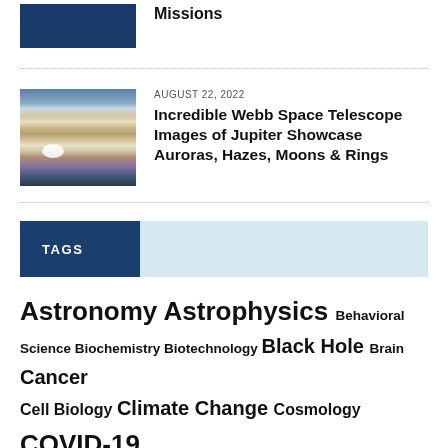[Figure (photo): Partial view of a space-related image at top]
Missions
[Figure (photo): Webb Space Telescope image of Jupiter showing colorful bands, auroras, and a white spot]
AUGUST 22, 2022
Incredible Webb Space Telescope Images of Jupiter Showcase Auroras, Hazes, Moons & Rings
TAGS
Astronomy Astrophysics Behavioral Science Biochemistry Biotechnology Black Hole Brain Cancer Cell Biology Climate Change Cosmology COVID-19 Disease DOE Ecology Energy European Space Agency Evolution Genetics